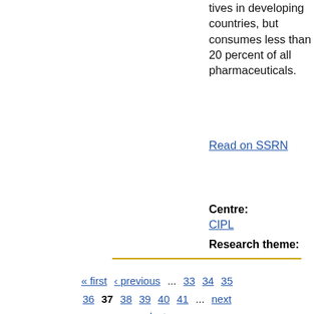tives in developing countries, but consumes less than 20 percent of all pharmaceuticals.
Read on SSRN
Centre: CIPL
Research theme:
« first ‹ previous ... 33 34 35 36 37 38 39 40 41 ... next › last »